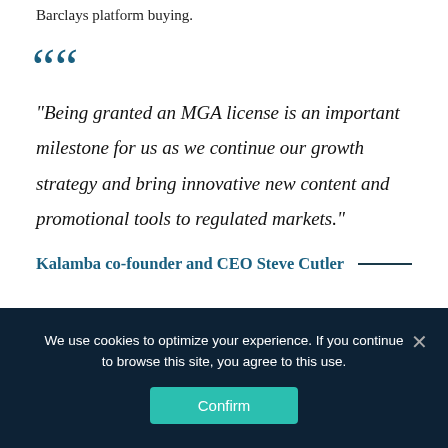Barclays platform buying.
“Being granted an MGA license is an important milestone for us as we continue our growth strategy and bring innovative new content and promotional tools to regulated markets.”
Kalamba co-founder and CEO Steve Cutler
Licenses Open up Access to New S…
We use cookies to optimize your experience. If you continue to browse this site, you agree to this use.